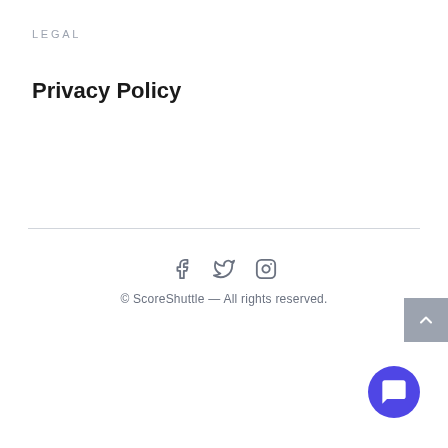LEGAL
Privacy Policy
© ScoreShuttle — All rights reserved.